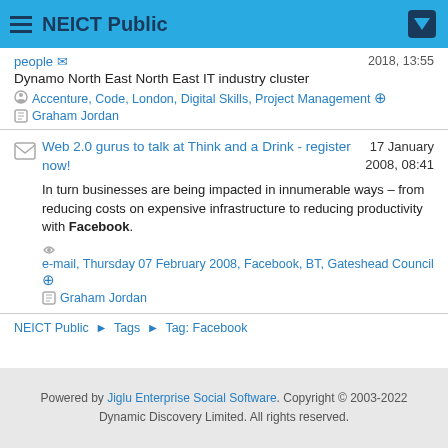NEICT Public
people · 2018, 13:55
Dynamo North East North East IT industry cluster
Accenture, Code, London, Digital Skills, Project Management
Graham Jordan
Web 2.0 gurus to talk at Think and a Drink - register now!
17 January 2008, 08:41
In turn businesses are being impacted in innumerable ways – from reducing costs on expensive infrastructure to reducing productivity with Facebook.
e-mail, Thursday 07 February 2008, Facebook, BT, Gateshead Council
Graham Jordan
NEICT Public ▶ Tags ▶ Tag: Facebook
Powered by Jiglu Enterprise Social Software. Copyright © 2003-2022 Dynamic Discovery Limited. All rights reserved.